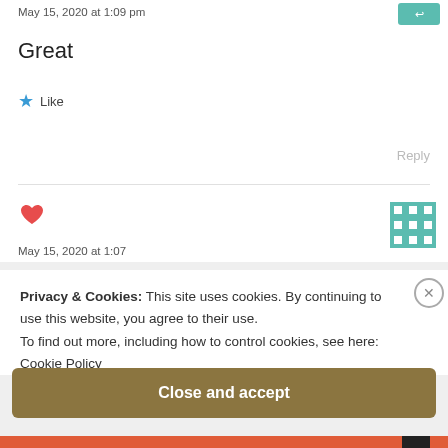May 15, 2020 at 1:09 pm
Great
★ Like
Reply
[Figure (other): Teal decorative avatar icon for first comment]
[Figure (other): Red heart icon and teal quilt-pattern avatar icon for second comment]
Privacy & Cookies: This site uses cookies. By continuing to use this website, you agree to their use.
To find out more, including how to control cookies, see here:
Cookie Policy
Close and accept